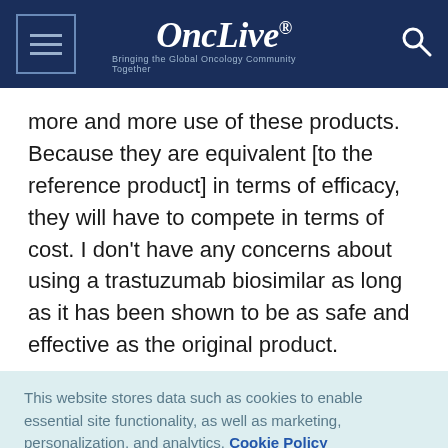OncLive® — Bringing the Global Oncology Community Together
more and more use of these products. Because they are equivalent [to the reference product] in terms of efficacy, they will have to compete in terms of cost. I don't have any concerns about using a trastuzumab biosimilar as long as it has been shown to be as safe and effective as the original product.
This website stores data such as cookies to enable essential site functionality, as well as marketing, personalization, and analytics. Cookie Policy
Accept
Deny